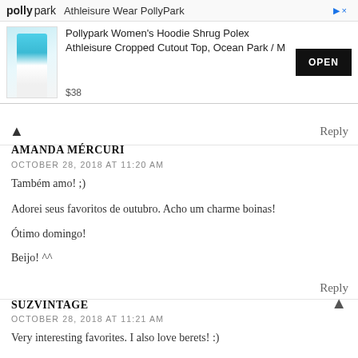[Figure (other): Pollypark advertisement banner showing a woman in athleisure wear, product title, price $38, and OPEN button]
^ Reply
AMANDA MÉRCURI
OCTOBER 28, 2018 AT 11:20 AM
Também amo! ;)
Adorei seus favoritos de outubro. Acho um charme boinas!
Ótimo domingo!
Beijo! ^^
Reply
SUZVINTAGE
OCTOBER 28, 2018 AT 11:21 AM
Very interesting favorites. I also love berets! :)